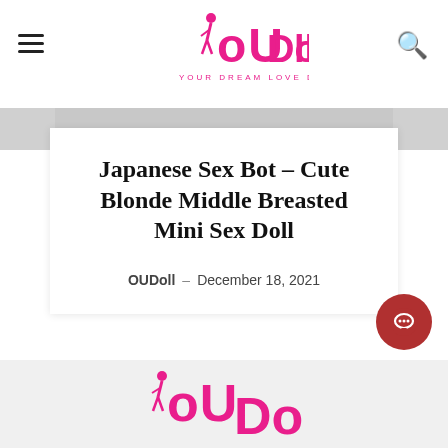OUDoll
Japanese Sex Bot – Cute Blonde Middle Breasted Mini Sex Doll
OUDoll – December 18, 2021
[Figure (other): Load more button with chevron]
[Figure (logo): OUDoll logo in pink at bottom footer area]